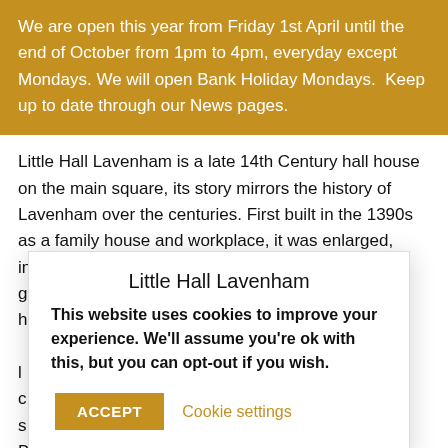We are open this year from Friday 1st April until the end of October from 1pm to 4pm, everyday except Mondays. We will open Bank Holiday Mondays.  Keep up to date through our News pages.
Little Hall Lavenham is a late 14th Century hall house on the main square, its story mirrors the history of Lavenham over the centuries. First built in the 1390s as a family house and workplace, it was enlarged, improved and modernised in the mid 1550s, and greatly extended later. By the 1700s it was giving h[...] t0s/30s. [...] tton (Surrey) [...] ffered it to the s[...] h two cottages. [...] to restore Little H[...] Anderson collection of pictures and artefacts was opened to the public in 1978 and
[Figure (other): Cookie consent modal overlay with title 'Little Hall Lavenham', body text about cookies, and Accept/Cookie settings buttons]